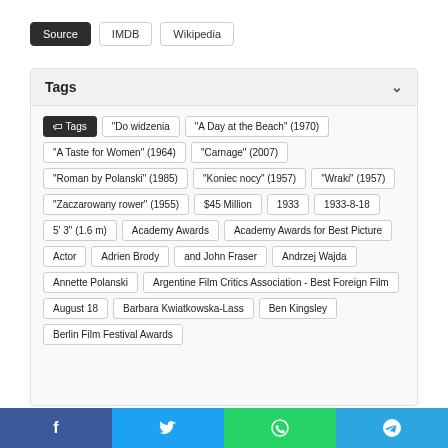Source | IMDB | Wikipedia
Tags
Tags
"Do widzenia
"A Day at the Beach" (1970)
"A Taste for Women" (1964)
"Carnage" (2007)
"Roman by Polanski" (1985)
"Koniec nocy" (1957)
"Wraki" (1957)
"Zaczarowany rower" (1955)
$45 Million
1933
1933-8-18
5' 3" (1.6 m)
Academy Awards
Academy Awards for Best Picture
Actor
Adrien Brody
and John Fraser
Andrzej Wajda
Annette Polanski
Argentine Film Critics Association - Best Foreign Film
August 18
Barbara Kwiatkowska-Lass
Ben Kingsley
Berlin Film Festival Awards
f | Twitter bird | WhatsApp | Telegram